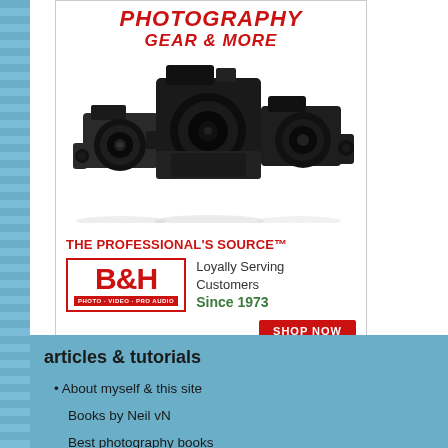[Figure (photo): Advertisement for B&H Photo showing DSLR cameras with text 'Photography Gear & More', 'The Professional's Source', B&H logo, 'Loyally Serving Customers Since 1973', and a 'Shop Now' button]
articles & tutorials
About myself & this site
Books by Neil vN
Best photography books
Black foamie thing
Spinlight 360